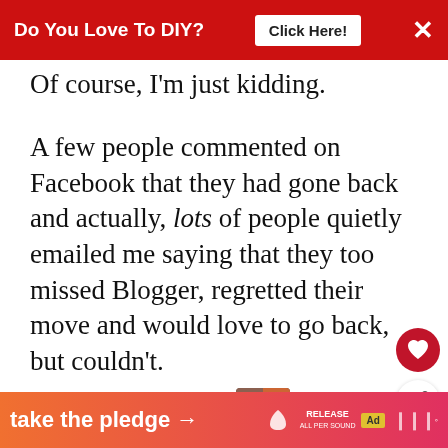Do You Love To DIY? Click Here! ×
Of course, I'm just kidding.
A few people commented on Facebook that they had gone back and actually, lots of people quietly emailed me saying that they too missed Blogger, regretted their move and would love to go back, but couldn't.
I get it.
[Figure (other): What's Next promotional block with thumbnail image and text 'Why I Will Never Be A...']
[Figure (infographic): Bottom ad banner: 'take the pledge' with arrow, Release logo, ad icon, mute icon]